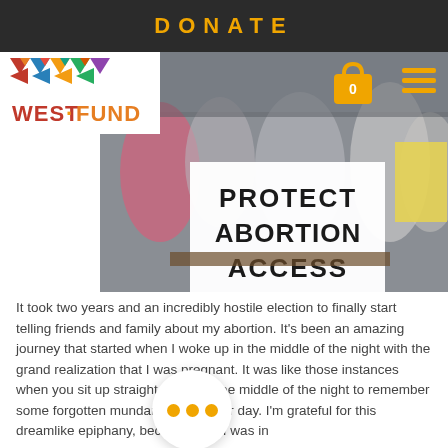DONATE
[Figure (logo): West Fund logo with geometric pattern in red, blue, yellow and green above text WEST FUND in red and orange]
[Figure (photo): Group of people holding a sign reading PROTECT ABORTION ACCESS at an outdoor event]
It took two years and an incredibly hostile election to finally start telling friends and family about my abortion. It’s been an amazing journey that started when I woke up in the middle of the night with the grand realization that I was pregnant. It was like those instances when you sit up straight in bed in the middle of the night to remember some forgotten mundane about your day. I’m grateful for this dreamlike epiphany, because IRL, I was in